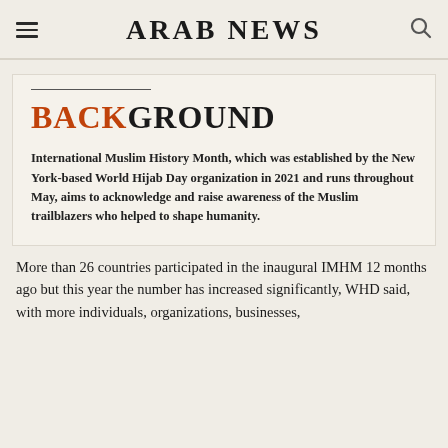ARAB NEWS
BACKGROUND
International Muslim History Month, which was established by the New York-based World Hijab Day organization in 2021 and runs throughout May, aims to acknowledge and raise awareness of the Muslim trailblazers who helped to shape humanity.
More than 26 countries participated in the inaugural IMHM 12 months ago but this year the number has increased significantly, WHD said, with more individuals, organizations, businesses, and educational institutions taking part.